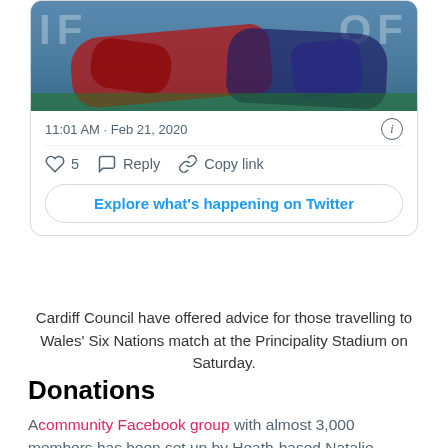[Figure (screenshot): Twitter/X embed card showing a rugby match image, timestamp 11:01 AM · Feb 21, 2020, with like (5), reply, and copy link actions, and an 'Explore what's happening on Twitter' button]
Cardiff Council have offered advice for those travelling to Wales' Six Nations match at the Principality Stadium on Saturday.
Donations
A community Facebook group with almost 3,000 members has been set up by Heath-based Natalie Pascoe, 36, and Rebecca Jayne Crossley, 39.
Drop-off donation points include Llanishen Rugby